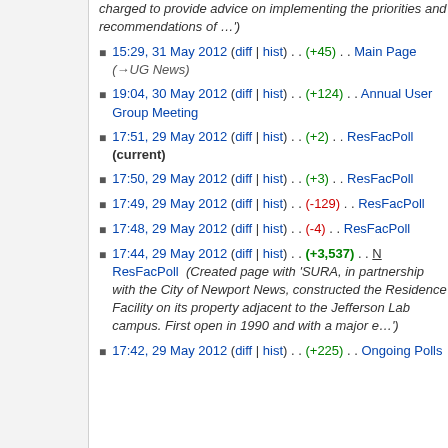charged to provide advice on implementing the priorities and recommendations of …')
15:29, 31 May 2012 (diff | hist) . . (+45) . . Main Page (→UG News)
19:04, 30 May 2012 (diff | hist) . . (+124) . . Annual User Group Meeting
17:51, 29 May 2012 (diff | hist) . . (+2) . . ResFacPoll (current)
17:50, 29 May 2012 (diff | hist) . . (+3) . . ResFacPoll
17:49, 29 May 2012 (diff | hist) . . (-129) . . ResFacPoll
17:48, 29 May 2012 (diff | hist) . . (-4) . . ResFacPoll
17:44, 29 May 2012 (diff | hist) . . (+3,537) . . N ResFacPoll (Created page with 'SURA, in partnership with the City of Newport News, constructed the Residence Facility on its property adjacent to the Jefferson Lab campus. First open in 1990 and with a major e…')
17:42, 29 May 2012 (diff | hist) . . (+225) . . Ongoing Polls